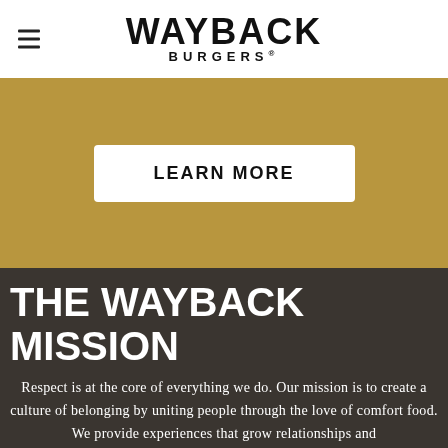WAYBACK BURGERS
LEARN MORE
THE WAYBACK MISSION
Respect is at the core of everything we do. Our mission is to create a culture of belonging by uniting people through the love of comfort food. We provide experiences that grow relationships and